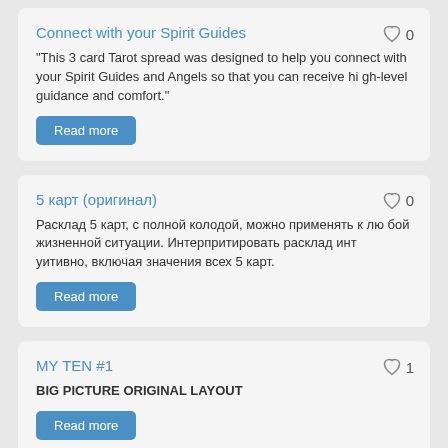Connect with your Spirit Guides
"This 3 card Tarot spread was designed to help you connect with your Spirit Guides and Angels so that you can receive high-level guidance and comfort."
Read more
5 карт (оригинал)
Расклад 5 карт, с полной колодой, можно применять к любой жизненной ситуации. Интерпритировать расклад интуитивно, включая значения всех 5 карт.
Read more
MY TEN #1
BIG PICTURE ORIGINAL LAYOUT
Read more